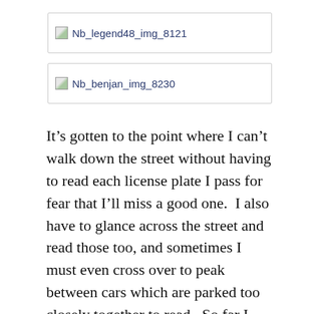[Figure (other): Broken image placeholder labeled Nb_legend48_img_8121]
[Figure (other): Broken image placeholder labeled Nb_benjan_img_8230]
It’s gotten to the point where I can’t walk down the street without having to read each license plate I pass for fear that I’ll miss a good one.  I also have to glance across the street and read those too, and sometimes I must even cross over to peak between cars which are parked too closely together to read.  So far I